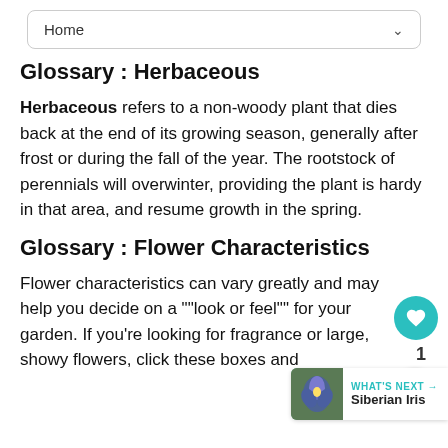Home
Glossary : Herbaceous
Herbaceous refers to a non-woody plant that dies back at the end of its growing season, generally after frost or during the fall of the year. The rootstock of perennials will overwinter, providing the plant is hardy in that area, and resume growth in the spring.
Glossary : Flower Characteristics
Flower characteristics can vary greatly and may help you decide on a ""look or feel"" for your garden. If you're looking for fragrance or large, showy flowers, click these boxes and